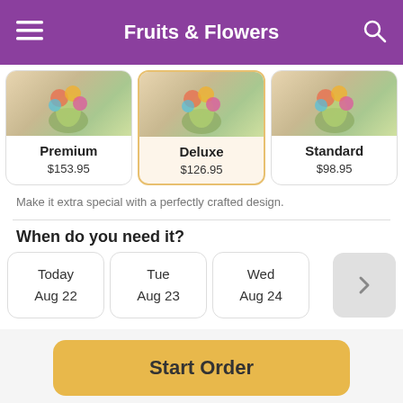Fruits & Flowers
[Figure (photo): Three flower arrangement cards: Premium ($153.95), Deluxe ($126.95, selected), Standard ($98.95). Each card shows a flower vase photo.]
Make it extra special with a perfectly crafted design.
When do you need it?
Today Aug 22 | Tue Aug 23 | Wed Aug 24
Start Order